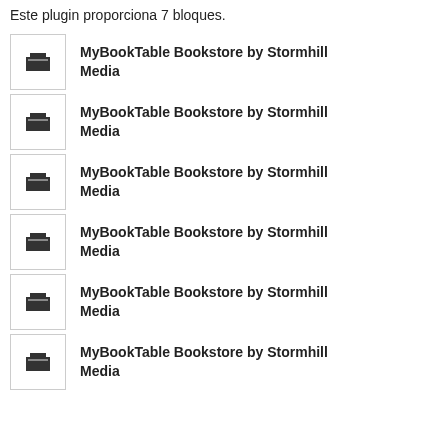Este plugin proporciona 7 bloques.
MyBookTable Bookstore by Stormhill Media
MyBookTable Bookstore by Stormhill Media
MyBookTable Bookstore by Stormhill Media
MyBookTable Bookstore by Stormhill Media
MyBookTable Bookstore by Stormhill Media
MyBookTable Bookstore by Stormhill Media